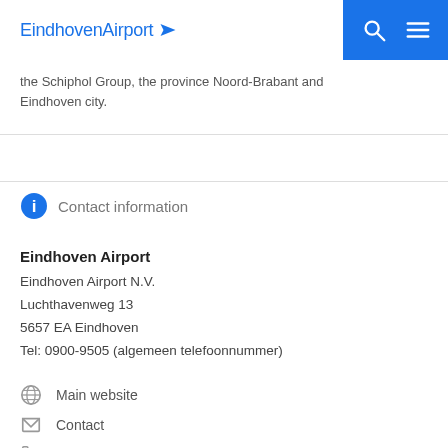EindhovenAirport [logo with navigation icons]
the Schiphol Group, the province Noord-Brabant and Eindhoven city.
Contact information
Eindhoven Airport
Eindhoven Airport N.V.
Luchthavenweg 13
5657 EA Eindhoven
Tel: 0900-9505 (algemeen telefoonnummer)
Main website
Contact
0900-9505 (algemeen telefoonnummer)